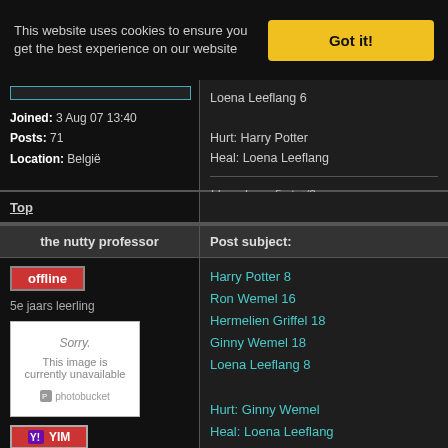This website uses cookies to ensure you get the best experience on our website
Got it!
Joined: 3 Aug 07 13:40
Posts: 71
Location: België
Loena Leeflang 6

Hurt: Harry Potter
Heal: Loena Leeflang

I loved you first </3
Top
the nutty professor
Post subject:
offline
5e jaars leerling
[Figure (screenshot): Broken image placeholder from Photobucket showing 'Sorry. This image is currently unavailable']
Harry Potter 8
Ron Wemel 16
Hermelien Griffel 18
Ginny Wemel 18
Loena Leeflang 8

Hurt: Ginny Wemel
Heal: Loena Leeflang

Domkop! Blubber! Klein